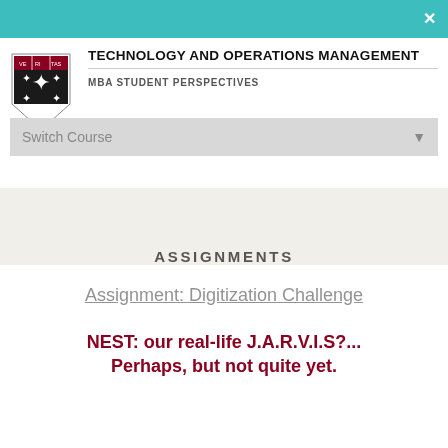TECHNOLOGY AND OPERATIONS MANAGEMENT — MBA STUDENT PERSPECTIVES
Switch Course
ASSIGNMENTS
LOG IN
Assignment: Digitization Challenge
NEST: our real-life J.A.R.V.I.S?... Perhaps, but not quite yet.